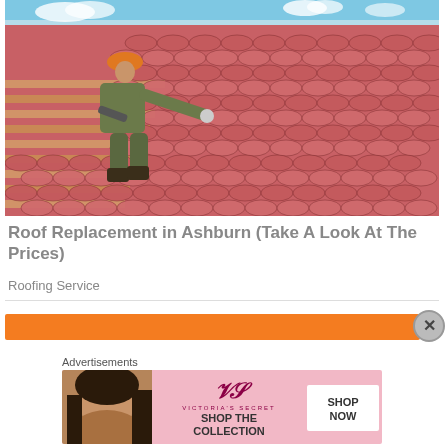[Figure (photo): A worker in camouflage clothing and an orange hard hat is laying red terracotta-style roof tiles on a rooftop. The tiles are reddish-pink with a wave pattern.]
Roof Replacement in Ashburn (Take A Look At The Prices)
Roofing Service
[Figure (other): Orange horizontal advertisement banner bar with a close button (X) overlapping it on the right side.]
Advertisements
[Figure (other): Victoria's Secret advertisement showing a woman's face on the left, the Victoria's Secret logo and 'SHOP THE COLLECTION' text in the center, and a 'SHOP NOW' button on the right, on a pink background.]